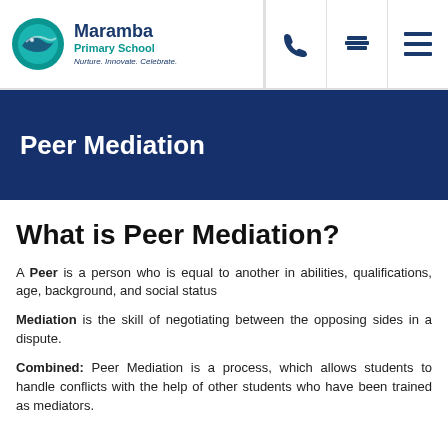Maramba Primary School — Nurture. Innovate. Celebrate.
Peer Mediation
What is Peer Mediation?
A Peer is a person who is equal to another in abilities, qualifications, age, background, and social status
Mediation is the skill of negotiating between the opposing sides in a dispute.
Combined: Peer Mediation is a process, which allows students to handle conflicts with the help of other students who have been trained as mediators.